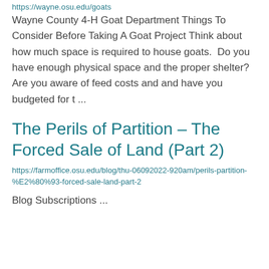https://wayne.osu.edu/goats
Wayne County 4-H Goat Department Things To Consider Before Taking A Goat Project Think about how much space is required to house goats.  Do you have enough physical space and the proper shelter?  Are you aware of feed costs and and have you budgeted for t ...
The Perils of Partition – The Forced Sale of Land (Part 2)
https://farmoffice.osu.edu/blog/thu-06092022-920am/perils-partition-%E2%80%93-forced-sale-land-part-2
Blog Subscriptions ...